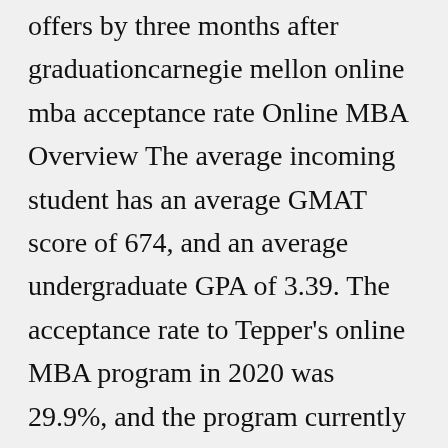offers by three months after graduationcarnegie mellon online mba acceptance rate Online MBA Overview The average incoming student has an average GMAT score of 674, and an average undergraduate GPA of 3.39. The acceptance rate to Tepper's online MBA program in 2020 was 29.9%, and the program currently enrolls 166 students.Apr 23, 2022 · What is Carnegie Mellon's Acceptance Rate?